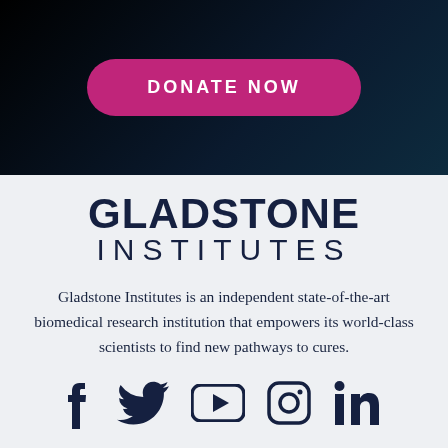[Figure (other): Dark gradient banner (black to dark navy) background at top of page]
DONATE NOW
[Figure (logo): Gladstone Institutes logo — two lines: GLADSTONE in bold, INSTITUTES in lighter weight]
Gladstone Institutes is an independent state-of-the-art biomedical research institution that empowers its world-class scientists to find new pathways to cures.
[Figure (other): Social media icons row: Facebook, Twitter, YouTube, Instagram, LinkedIn — all in dark navy]